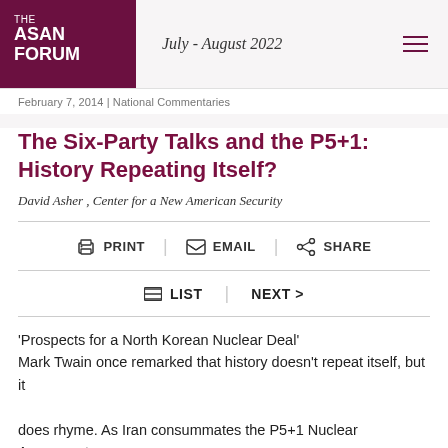THE ASAN FORUM | July - August 2022
February 7, 2014 | National Commentaries
The Six-Party Talks and the P5+1: History Repeating Itself?
David Asher , Center for a New American Security
PRINT | EMAIL | SHARE
LIST | NEXT >
'Prospects for a North Korean Nuclear Deal' Mark Twain once remarked that history doesn't repeat itself, but it does rhyme. As Iran consummates the P5+1 Nuclear Agreement, one